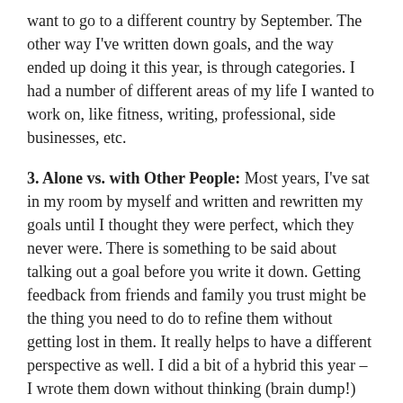want to go to a different country by September. The other way I've written down goals, and the way ended up doing it this year, is through categories. I had a number of different areas of my life I wanted to work on, like fitness, writing, professional, side businesses, etc.
3. Alone vs. with Other People: Most years, I've sat in my room by myself and written and rewritten my goals until I thought they were perfect, which they never were. There is something to be said about talking out a goal before you write it down. Getting feedback from friends and family you trust might be the thing you need to do to refine them without getting lost in them. It really helps to have a different perspective as well. I did a bit of a hybrid this year – I wrote them down without thinking (brain dump!) and then read them aloud to someone. Then we talked about how I felt about them and I updated from there. Also, of course, I went through my business goals with my Pockets Change business partner. One of other perks of having one of those.